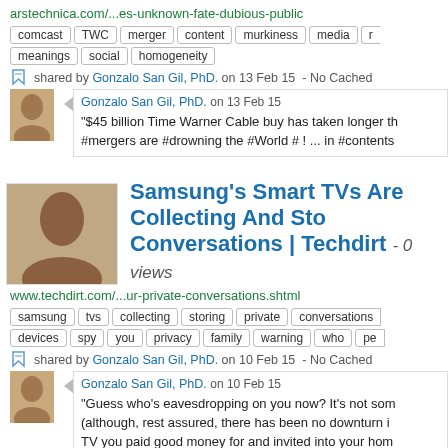arstechnica.com/...es-unknown-fate-dubious-public
comcast  TWC  merger  content  murkiness  media  r
meanings  social  homogeneity
shared by Gonzalo San Gil, PhD. on 13 Feb 15  - No Cached
Gonzalo San Gil, PhD. on 13 Feb 15
"$45 billion Time Warner Cable buy has taken longer th
#mergers are #drowning the #World # ! ... in #contents
Samsung's Smart TVs Are Collecting And Sto Conversations | Techdirt - 0 views
www.techdirt.com/...ur-private-conversations.shtml
samsung  tvs  collecting  storing  private  conversations
devices  spy  you  privacy  family  warning  who  pe
shared by Gonzalo San Gil, PhD. on 10 Feb 15  - No Cached
Gonzalo San Gil, PhD. on 10 Feb 15
"Guess who's eavesdropping on you now? It's not som
(although, rest assured, there has been no downturn i
TV you paid good money for and invited into your hom